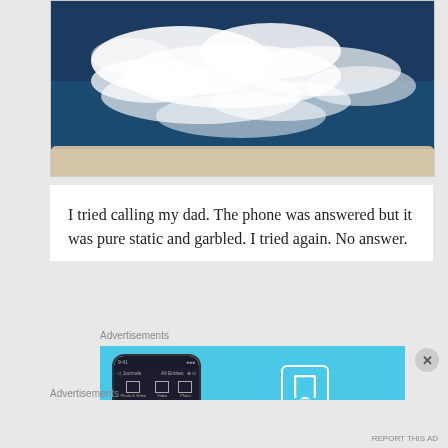[Figure (photo): Aerial or boat-side view of ocean waves and white water foam against dark blue sea water]
I tried calling my dad. The phone was answered but it was pure static and garbled. I tried again. No answer.
Advertisements
[Figure (screenshot): DayOne app advertisement banner showing a phone with the DayOne journal app interface on the left and the DayOne logo with text 'Your Journal for life' on a light blue background on the right]
Advertisements